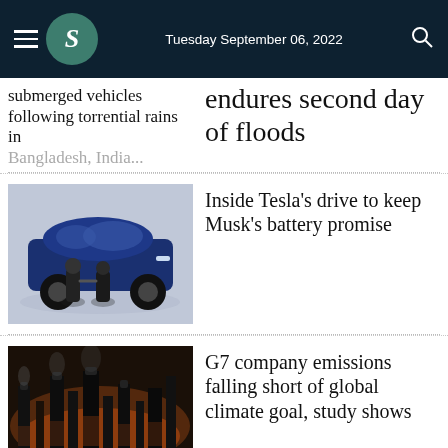Tuesday September 06, 2022
submerged vehicles following torrential rains in Bangladesh...
endures second day of floods
[Figure (photo): Blue Tesla car at display with two people shaking hands in foreground]
Inside Tesla's drive to keep Musk's battery promise
[Figure (photo): Industrial plant/refinery at dusk with orange glow]
G7 company emissions falling short of global climate goal, study shows
[Figure (photo): Bitcoin logo glowing in gold/orange]
Cryptoverse: Bitcoin's no longer the king of the